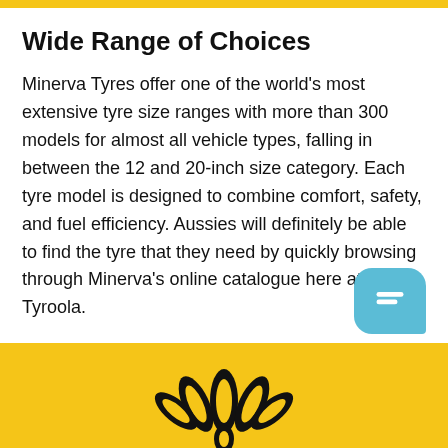Wide Range of Choices
Minerva Tyres offer one of the world's most extensive tyre size ranges with more than 300 models for almost all vehicle types, falling in between the 12 and 20-inch size category. Each tyre model is designed to combine comfort, safety, and fuel efficiency. Aussies will definitely be able to find the tyre that they need by quickly browsing through Minerva's online catalogue here at Tyroola.
[Figure (logo): Minerva logo — stylized leaf/flower motif in black on a yellow/gold background]